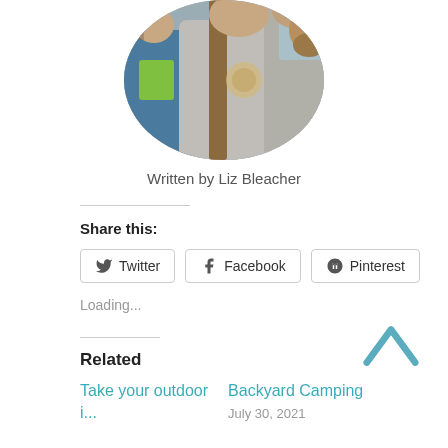[Figure (photo): Circular cropped photo of a family group outdoors, woman in center wearing gray t-shirt with a camera strap, two children and a man around her]
Written by Liz Bleacher
Share this:
Twitter  Facebook  Pinterest
Loading...
Related
Take your outdoor
Backyard Camping